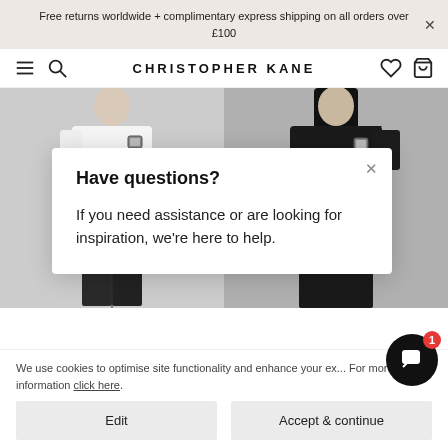Free returns worldwide + complimentary express shipping on all orders over £100
CHRISTOPHER KANE
[Figure (photo): Two fashion models side by side. Left model wears white top and dark trousers with a decorative brooch. Right model wears black top with similar brooch.]
Have questions?
If you need assistance or are looking for inspiration, we're here to help.
We use cookies to optimise site functionality and enhance your ex... For more information click here.
Edit
Accept & continue